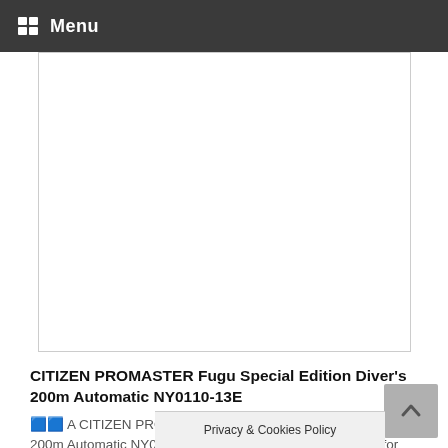Menu
[Figure (photo): White blank product image area with border]
CITIZEN PROMASTER Fugu Special Edition Diver's 200m Automatic NY0110-13E
🟦🟦 A CITIZEN PROMASTER Fugu Special Edition Diver's 200m Automatic NY0110-13E. This watch is available now for CA$552.69. The sel…ur,
Privacy & Cookies Policy